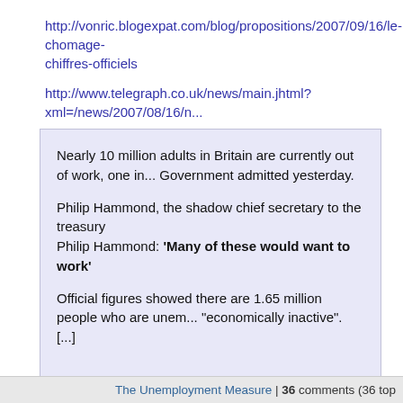http://vonric.blogexpat.com/blog/propositions/2007/09/16/le-chomage-chiffres-officiels
http://www.telegraph.co.uk/news/main.jhtml?xml=/news/2007/08/16/n...
Nearly 10 million adults in Britain are currently out of work, one in... Government admitted yesterday.

Philip Hammond, the shadow chief secretary to the treasury
Philip Hammond: 'Many of these would want to work'

Official figures showed there are 1.65 million people who are unem... "economically inactive".
[...]
by Laurent GUERBY on Tue Sep 18th, 2007 at 04:53:25 PM EST
The Unemployment Measure | 36 comments (36 top